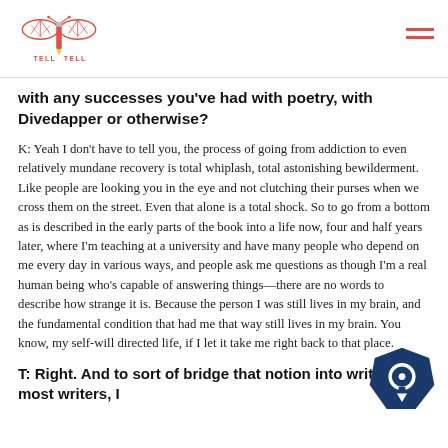TELL TELL (logo with moth/insect design)
with any successes you've had with poetry, with Divedapper or otherwise?
K: Yeah I don't have to tell you, the process of going from addiction to even relatively mundane recovery is total whiplash, total astonishing bewilderment. Like people are looking you in the eye and not clutching their purses when we cross them on the street. Even that alone is a total shock. So to go from a bottom as is described in the early parts of the book into a life now, four and half years later, where I'm teaching at a university and have many people who depend on me every day in various ways, and people ask me questions as though I'm a real human being who's capable of answering things—there are no words to describe how strange it is. Because the person I was still lives in my brain, and the fundamental condition that had me that way still lives in my brain. You know, my self-will directed life, if I let it take me right back to that place.
T: Right. And to sort of bridge that notion into writing, most writers, I
[Figure (logo): Dark blue hexagonal chat bubble icon in bottom right corner]